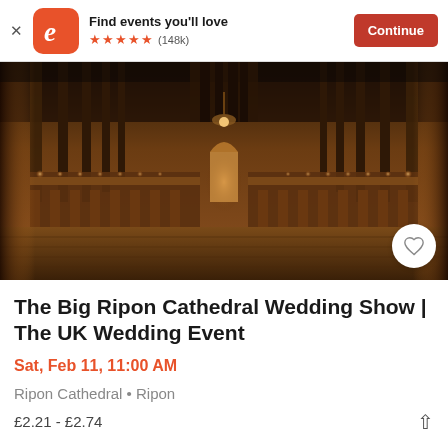Find events you'll love ★★★★★ (148k) Continue
[Figure (photo): Interior of Ripon Cathedral choir stalls, warm candlelit lighting, ornate wooden Gothic architecture, looking toward an arch doorway at the far end]
The Big Ripon Cathedral Wedding Show | The UK Wedding Event
Sat, Feb 11, 11:00 AM
Ripon Cathedral • Ripon
£2.21 - £2.74